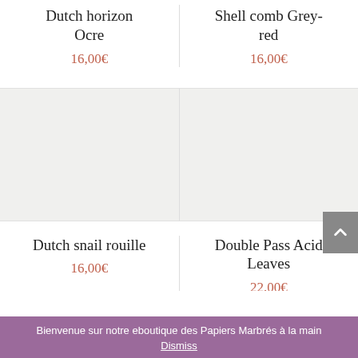Dutch horizon Ocre
16,00€
Shell comb Grey-red
16,00€
[Figure (photo): Product image placeholder for Dutch snail rouille (light grey background)]
[Figure (photo): Product image placeholder for Double Pass Acid Leaves (light grey background)]
Dutch snail rouille
16,00€
Double Pass Acid Leaves
22,00€
Bienvenue sur notre eboutique des Papiers Marbrés à la main
Dismiss